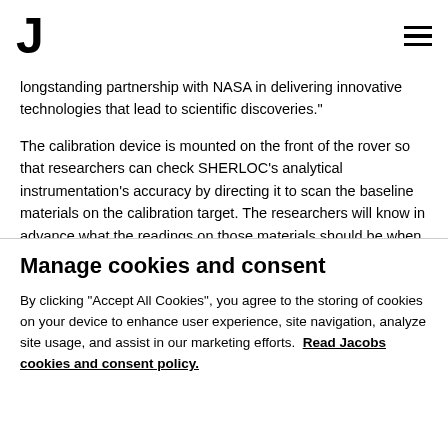J (logo) | hamburger menu
longstanding partnership with NASA in delivering innovative technologies that lead to scientific discoveries."
The calibration device is mounted on the front of the rover so that researchers can check SHERLOC's analytical instrumentation's accuracy by directing it to scan the baseline materials on the calibration target. The researchers will know in advance what the readings on those materials should be when SHERLOC is working correctly. If the actual readings are off, they can make adjustments to SHERLOC to get it set properly or know to compensate for the errors when they analyze the data later.
Manage cookies and consent
By clicking "Accept All Cookies", you agree to the storing of cookies on your device to enhance user experience, site navigation, analyze site usage, and assist in our marketing efforts.  Read Jacobs cookies and consent policy.